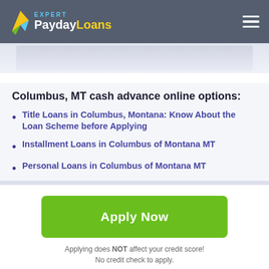PaydayLoans EXPERT
[Figure (photo): Hero image showing a person, partially visible, light/white background]
Columbus, MT cash advance online options:
Title Loans in Columbus, Montana: Know About the Loan Scheme before Applying
Installment Loans in Columbus of Montana MT
Personal Loans in Columbus of Montana MT
Apply Now
Applying does NOT affect your credit score!
No credit check to apply.